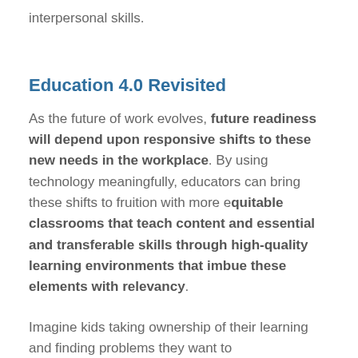interpersonal skills.
Education 4.0 Revisited
As the future of work evolves, future readiness will depend upon responsive shifts to these new needs in the workplace. By using technology meaningfully, educators can bring these shifts to fruition with more equitable classrooms that teach content and essential and transferable skills through high-quality learning environments that imbue these elements with relevancy.
Imagine kids taking ownership of their learning and finding problems they want to